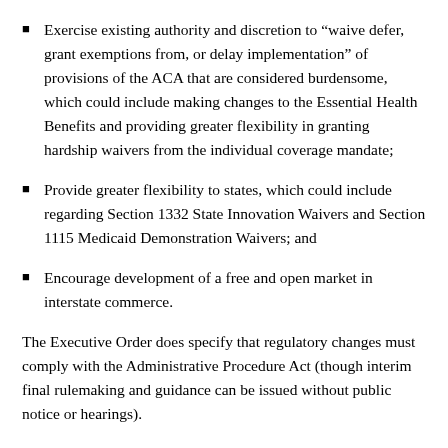Exercise existing authority and discretion to “waive defer, grant exemptions from, or delay implementation” of provisions of the ACA that are considered burdensome, which could include making changes to the Essential Health Benefits and providing greater flexibility in granting hardship waivers from the individual coverage mandate;
Provide greater flexibility to states, which could include regarding Section 1332 State Innovation Waivers and Section 1115 Medicaid Demonstration Waivers; and
Encourage development of a free and open market in interstate commerce.
The Executive Order does specify that regulatory changes must comply with the Administrative Procedure Act (though interim final rulemaking and guidance can be issued without public notice or hearings).